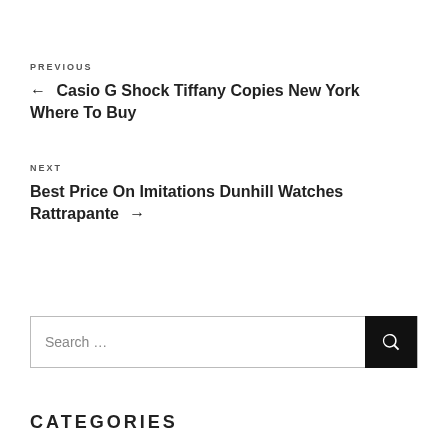PREVIOUS
← Casio G Shock Tiffany Copies New York Where To Buy
NEXT
Best Price On Imitations Dunhill Watches Rattrapante →
Search …
CATEGORIES